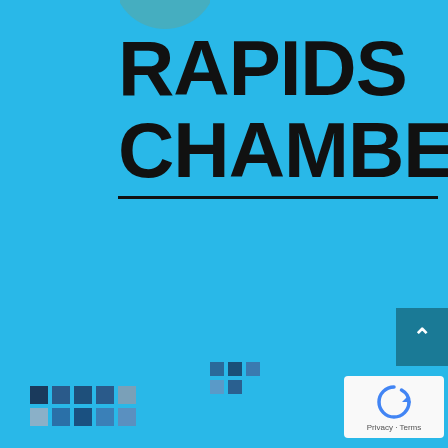[Figure (logo): Partial teal/muted-green circle arc logo at top left, partially cropped]
RAPIDS CHAMBER
[Figure (illustration): Dark teal scroll-to-top button with upward caret arrow on right edge]
[Figure (illustration): reCAPTCHA widget with circular arrow icon, Privacy - Terms text, white background box in bottom right]
[Figure (illustration): Pixel/mosaic grid pattern of small colored squares in shades of dark blue, medium blue, gray-blue, and light blue at bottom left]
[Figure (illustration): Small partial pixel/mosaic grid of colored squares at bottom center]